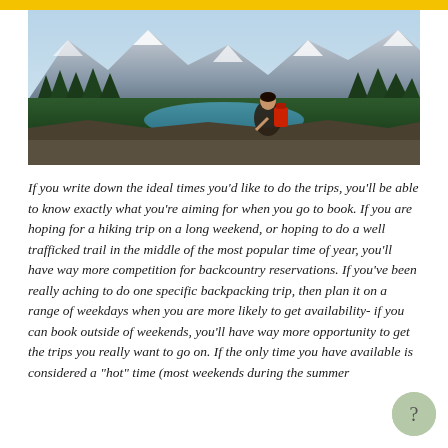[Figure (photo): A hiker with a red backpack sits on a rocky outcrop overlooking a stunning mountain landscape with a turquoise lake, dense pine forests, and snow-capped peaks in the background.]
If you write down the ideal times you'd like to do the trips, you'll be able to know exactly what you're aiming for when you go to book. If you are hoping for a hiking trip on a long weekend, or hoping to do a well trafficked trail in the middle of the most popular time of year, you'll have way more competition for backcountry reservations. If you've been really aching to do one specific backpacking trip, then plan it on a range of weekdays when you are more likely to get availability- if you can book outside of weekends, you'll have way more opportunity to get the trips you really want to go on. If the only time you have available is considered a "hot" time (most weekends during the summer